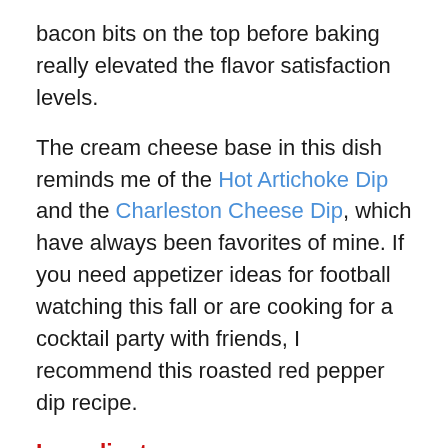bacon bits on the top before baking really elevated the flavor satisfaction levels.
The cream cheese base in this dish reminds me of the Hot Artichoke Dip and the Charleston Cheese Dip, which have always been favorites of mine. If you need appetizer ideas for football watching this fall or are cooking for a cocktail party with friends, I recommend this roasted red pepper dip recipe.
Ingredients
1 package (8 oz.) cream cheese, softened
1 c. mayonnaise
2 T. finely chopped onion
2 garlic cloves, minced
4-5 sun dried tomatoes, drained and chopped (~4 oz)